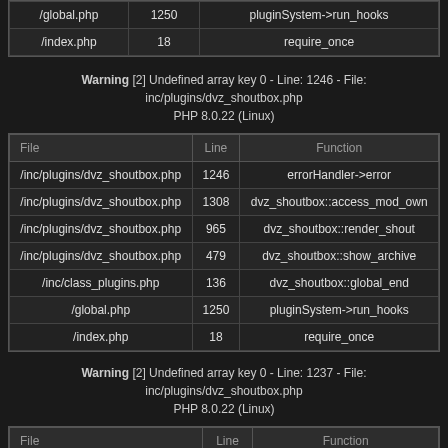| File | Line | Function |
| --- | --- | --- |
| /global.php | 1250 | pluginSystem->run_hooks |
| /index.php | 18 | require_once |
Warning [2] Undefined array key 0 - Line: 1246 - File: inc/plugins/dvz_shoutbox.php PHP 8.0.22 (Linux)
| File | Line | Function |
| --- | --- | --- |
| /inc/plugins/dvz_shoutbox.php | 1246 | errorHandler->error |
| /inc/plugins/dvz_shoutbox.php | 1308 | dvz_shoutbox::access_mod_own |
| /inc/plugins/dvz_shoutbox.php | 965 | dvz_shoutbox::render_shout |
| /inc/plugins/dvz_shoutbox.php | 479 | dvz_shoutbox::show_archive |
| /inc/class_plugins.php | 136 | dvz_shoutbox::global_end |
| /global.php | 1250 | pluginSystem->run_hooks |
| /index.php | 18 | require_once |
Warning [2] Undefined array key 0 - Line: 1237 - File: inc/plugins/dvz_shoutbox.php PHP 8.0.22 (Linux)
| File | Line | Function |
| --- | --- | --- |
| /inc/plugins/dvz_shoutbox.php | 1237 | errorHandler->error |
| /inc/plugins/dvz_shoutbox.php | 1318 | dvz_shoutbox::access_mod |
| /inc/plugins/dvz_shoutbox.php | 965 | dvz_shoutbox::render_shout |
| /inc/plugins/dvz_shoutbox.php | 479 | dvz_shoutbox::show_archive |